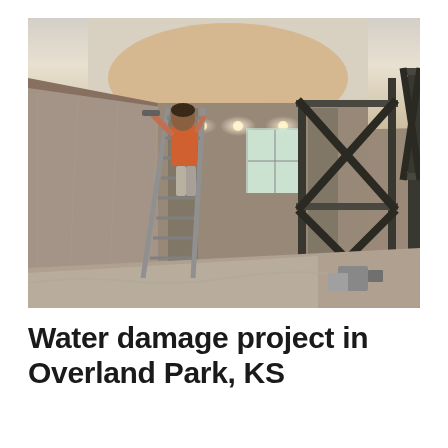[Figure (photo): Interior of a room under water damage restoration. A worker in an orange shirt stands on a ladder working on the ceiling. The room is covered with plastic sheeting/drop cloths. Scaffolding with X-bracing is visible on the right side. Recessed lights visible in the background. Construction/restoration equipment on the floor.]
Water damage project in Overland Park, KS